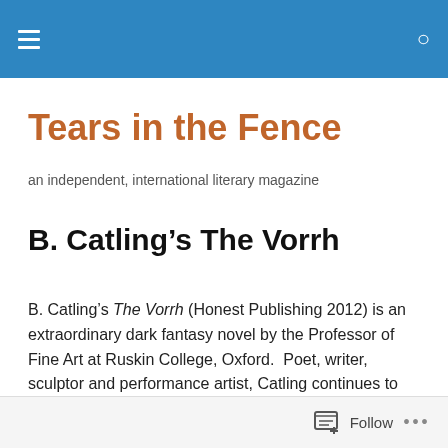Tears in the Fence — site navigation header bar
Tears in the Fence
an independent, international literary magazine
B. Catling's The Vorrh
B. Catling's The Vorrh (Honest Publishing 2012) is an extraordinary dark fantasy novel by the Professor of Fine Art at Ruskin College, Oxford.  Poet, writer, sculptor and performance artist, Catling continues to impress and beguile with the range of his explorations.
Follow